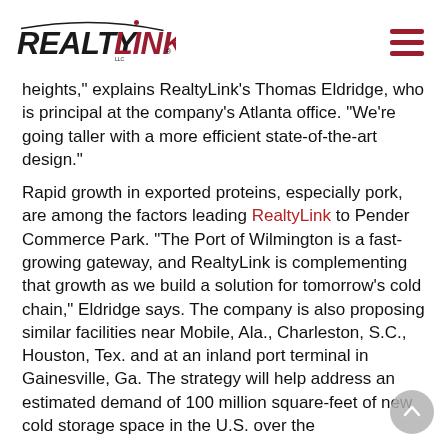RealtyLink LLC (logo) + navigation hamburger
heights,” explains RealtyLink’s Thomas Eldridge, who is principal at the company’s Atlanta office. “We’re going taller with a more efficient state-of-the-art design.”
Rapid growth in exported proteins, especially pork, are among the factors leading RealtyLink to Pender Commerce Park. “The Port of Wilmington is a fast-growing gateway, and RealtyLink is complementing that growth as we build a solution for tomorrow’s cold chain,” Eldridge says. The company is also proposing similar facilities near Mobile, Ala., Charleston, S.C., Houston, Tex. and at an inland port terminal in Gainesville, Ga. The strategy will help address an estimated demand of 100 million square-feet of new cold storage space in the U.S. over the